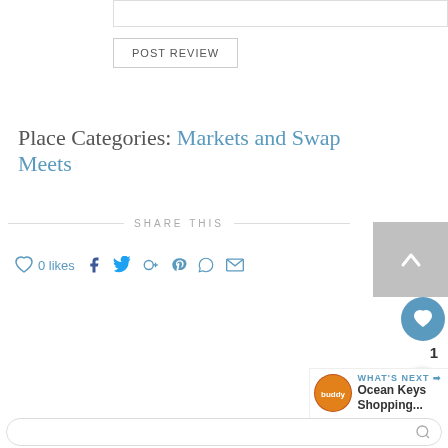POST REVIEW
Place Categories: Markets and Swap Meets
SHARE THIS
0 likes
[Figure (screenshot): Social share icons: heart/like, Facebook, Twitter, Google+, Pinterest, WhatsApp, Email]
[Figure (screenshot): Back to top arrow button (grey square), heart FAB button (blue circle), share FAB button]
1
WHAT'S NEXT → Ocean Keys Shopping...
Search bar at bottom